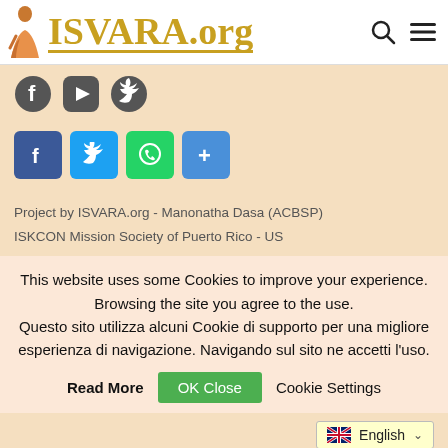[Figure (logo): ISVARA.org website header with monk figure and gold logo text, search and menu icons]
[Figure (infographic): Social media icons: Facebook, YouTube, Twitter in dark gray]
[Figure (infographic): Share buttons: Facebook (blue), Twitter (blue), WhatsApp (green), Share (blue)]
Project by ISVARA.org - Manonatha Dasa (ACBSP)
ISKCON Mission Society of Puerto Rico - US
This website uses some Cookies to improve your experience. Browsing the site you agree to the use. Questo sito utilizza alcuni Cookie di supporto per una migliore esperienza di navigazione. Navigando sul sito ne accetti l'uso.
Read More   OK Close   Cookie Settings
English